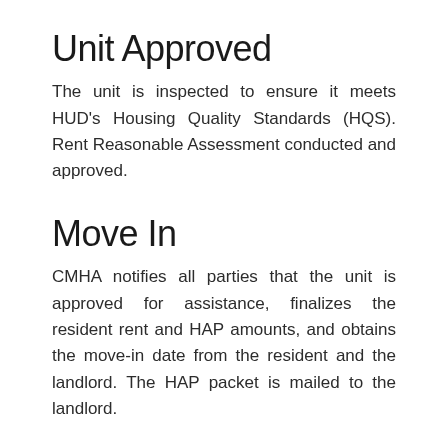Unit Approved
The unit is inspected to ensure it meets HUD's Housing Quality Standards (HQS). Rent Reasonable Assessment conducted and approved.
Move In
CMHA notifies all parties that the unit is approved for assistance, finalizes the resident rent and HAP amounts, and obtains the move-in date from the resident and the landlord. The HAP packet is mailed to the landlord.
Owner Returns Lease & HAP Packet